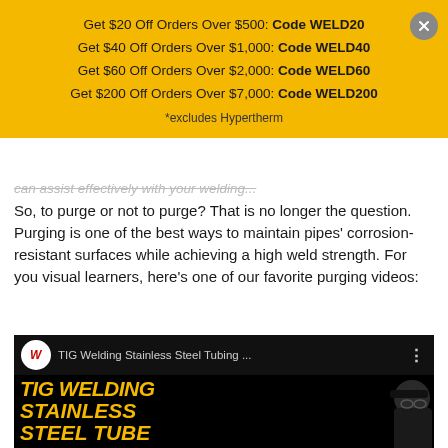Get $20 Off Orders Over $500: Code WELD20
Get $40 Off Orders Over $1,000: Code WELD40
Get $60 Off Orders Over $2,000: Code WELD60
Get $200 Off Orders Over $7,000: Code WELD200
*excludes Hypertherm
can assist effectively with your welding...
So, to purge or not to purge? That is no longer the question. Purging is one of the best ways to maintain pipes' corrosion-resistant surfaces while achieving a high weld strength. For you visual learners, here's one of our favorite purging videos:
[Figure (screenshot): YouTube video thumbnail for 'TIG Welding Stainless Steel Tubing ...' showing bold yellow text 'TIG WELDING STAINLESS STEEL TUBE' on black background with a person wearing glasses and a cap visible on the right side.]